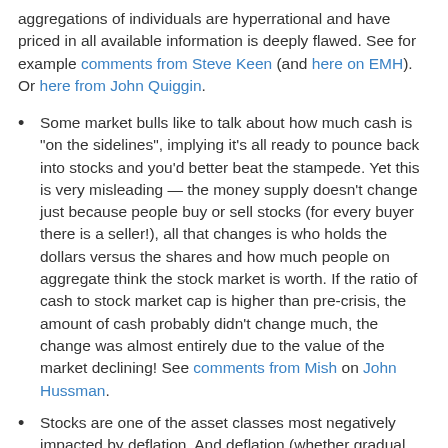aggregations of individuals are hyperrational and have priced in all available information is deeply flawed. See for example comments from Steve Keen (and here on EMH). Or here from John Quiggin.
Some market bulls like to talk about how much cash is "on the sidelines", implying it's all ready to pounce back into stocks and you'd better beat the stampede. Yet this is very misleading — the money supply doesn't change just because people buy or sell stocks (for every buyer there is a seller!), all that changes is who holds the dollars versus the shares and how much people on aggregate think the stock market is worth. If the ratio of cash to stock market cap is higher than pre-crisis, the amount of cash probably didn't change much, the change was almost entirely due to the value of the market declining! See comments from Mish on John Hussman.
Stocks are one of the asset classes most negatively impacted by deflation. And deflation (whether gradual